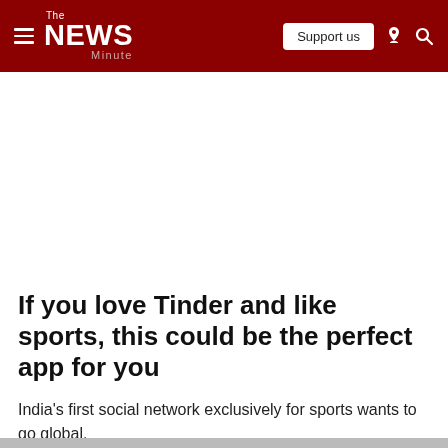The NEWS Minute — Support us
If you love Tinder and like sports, this could be the perfect app for you
India's first social network exclusively for sports wants to go global.